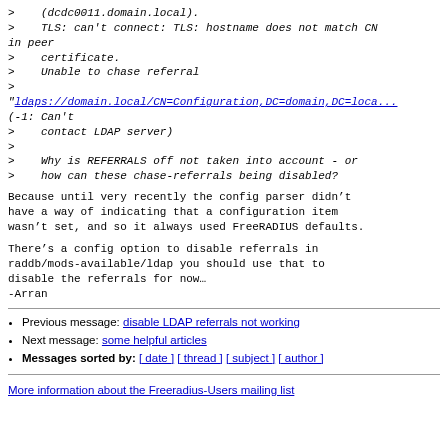>    (dcdc0011.domain.local).
>    TLS: can't connect: TLS: hostname does not match CN in peer
>    certificate.
>    Unable to chase referral
>
"ldaps://domain.local/CN=Configuration,DC=domain,DC=loca...
(-1: Can't
>    contact LDAP server)
>
>    Why is REFERRALS off not taken into account - or
>    how can these chase-referrals being disabled?
Because until very recently the config parser didn’t have a way of indicating that a configuration item wasn’t set, and so it always used FreeRADIUS defaults.
There’s a config option to disable referrals in raddb/mods-available/ldap you should use that to disable the referrals for now…
-Arran
Previous message: disable LDAP referrals not working
Next message: some helpful articles
Messages sorted by: [ date ] [ thread ] [ subject ] [ author ]
More information about the Freeradius-Users mailing list